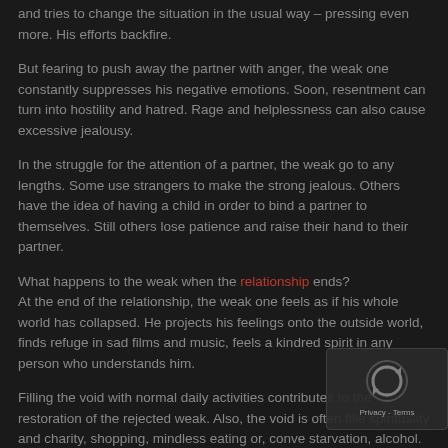and tries to change the situation in the usual way – pressing even more. His efforts backfire.
But fearing to push away the partner with anger, the weak one constantly suppresses his negative emotions. Soon, resentment can turn into hostility and hatred. Rage and helplessness can also cause excessive jealousy.
In the struggle for the attention of a partner, the weak go to any lengths. Some use strangers to make the strong jealous. Others have the idea of having a child in order to bind a partner to themselves. Still others lose patience and raise their hand to their partner.
What happens to the weak when the relationship ends? At the end of the relationship, the weak one feels as if his whole world has collapsed. He projects his feelings onto the outside world, finds refuge in sad films and music, feels a kindred spirit in any person who understands him.
Filling the void with normal daily activities contributes to the restoration of the rejected weak. Also, the void is often filled spirituality and charity, shopping, mindless eating or, conver starvation, alcohol.